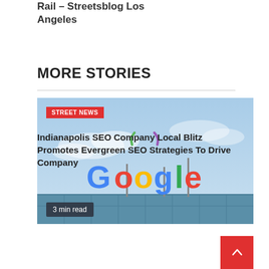Rail – Streetsblog Los Angeles
MORE STORIES
[Figure (photo): Photo of a Google building sign with blue sky background, showing the Google logo in its signature multicolor letters. A 'STREET NEWS' badge overlays the top-left and a '3 min read' badge overlays the bottom-left.]
Indianapolis SEO Company Local Blitz Promotes Evergreen SEO Strategies To Drive Company